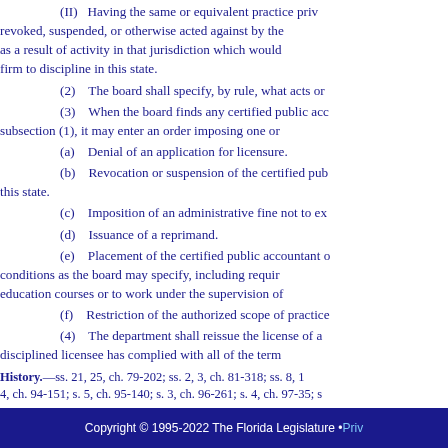(II) Having the same or equivalent practice privilege revoked, suspended, or otherwise acted against by the as a result of activity in that jurisdiction which would firm to discipline in this state.
(2) The board shall specify, by rule, what acts or
(3) When the board finds any certified public acco subsection (1), it may enter an order imposing one or
(a) Denial of an application for licensure.
(b) Revocation or suspension of the certified pub this state.
(c) Imposition of an administrative fine not to ex
(d) Issuance of a reprimand.
(e) Placement of the certified public accountant o conditions as the board may specify, including requir education courses or to work under the supervision o
(f) Restriction of the authorized scope of practice
(4) The department shall reissue the license of a disciplined licensee has complied with all of the term
History.—ss. 21, 25, ch. 79-202; ss. 2, 3, ch. 81-318; ss. 8, 1 4, ch. 94-151; s. 5, ch. 95-140; s. 3, ch. 96-261; s. 4, ch. 97-35; s 2008-81; s. 22, ch. 2009-54; s. 55, ch. 2009-195; s. 46, ch. 2010-
Copyright © 1995-2022 The Florida Legislature • Priv